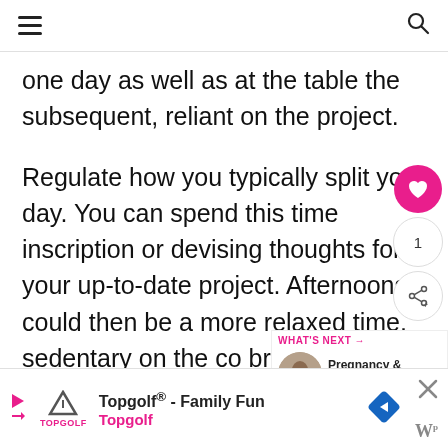≡  🔍
one day as well as at the table the subsequent, reliant on the project.
Regulate how you typically split your day. You can spend this time inscription or devising thoughts for your up-to-date project. Afternoons could then be a more relaxed time, sedentary on the co browsing emails, and doing the rest of your ch
Topgolf® - Family Fun Topgolf